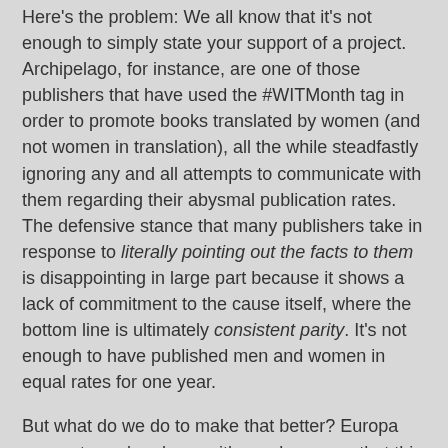Here's the problem: We all know that it's not enough to simply state your support of a project. Archipelago, for instance, are one of those publishers that have used the #WITMonth tag in order to promote books translated by women (and not women in translation), all the while steadfastly ignoring any and all attempts to communicate with them regarding their abysmal publication rates. The defensive stance that many publishers take in response to literally pointing out the facts to them is disappointing in large part because it shows a lack of commitment to the cause itself, where the bottom line is ultimately consistent parity. It's not enough to have published men and women in equal rates for one year.
But what do we do to make that better? Europa suggest - and perhaps with good reason - that this isn't something that can be solved with a snap of the fingers, rather that there is a process. To be honest, I don't think that this approach is inherently wrong. In the years I've worked on this project, I've seen how many factors play into the global imbalance. It's not inaccurate to say that the US translation market is influenced by markets in other countries, biases in other